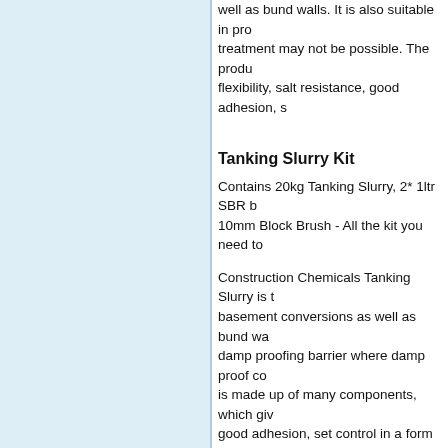well as bund walls. It is also suitable in projects where treatment may not be possible. The product offers flexibility, salt resistance, good adhesion, s
Tanking Slurry Kit
Contains 20kg Tanking Slurry, 2* 1ltr SBR bonding, 10mm Block Brush - All the kit you need to
Construction Chemicals Tanking Slurry is the ideal for basement conversions as well as bund walls. It creates a damp proofing barrier where damp proof course treatment is made up of many components, which gives it flexibility, good adhesion, set control in a form that o
SBR Bonding Kit
Construction Chemicals SBR is a white styrene butadiene polymer used to improve the properties of cement mixes and mortars. It is also used in conjunction with Construction Chemicals Tanking Slurry as a priming coat and basecoat. Used with sulphate-resistant cement to reduce movement of salts with in wall. SBR Bonding improves water and abrasion resistance. It also improves cement renders and has many other uses.
Water seal 10Kg Drum
Construction Chemicals Water Seal is used